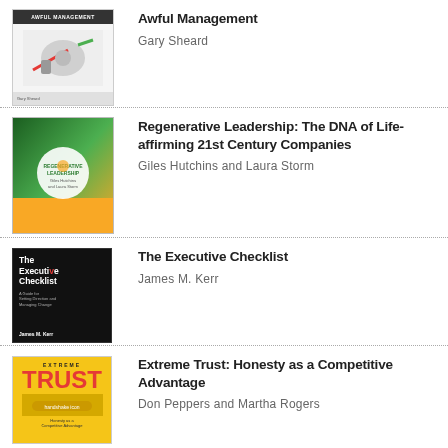[Figure (illustration): Book cover for 'Awful Management' by Gary Sheard, showing a dark top banner with title and an illustrated scene with arrows and mechanical elements]
Awful Management
Gary Sheard
[Figure (illustration): Book cover for 'Regenerative Leadership: The DNA of Life-affirming 21st Century Companies' by Giles Hutchins and Laura Storm, featuring green and yellow nature-themed imagery with a circular logo]
Regenerative Leadership: The DNA of Life-affirming 21st Century Companies
Giles Hutchins and Laura Storm
[Figure (illustration): Book cover for 'The Executive Checklist' by James M. Kerr, dark/black background with bold white and red title text]
The Executive Checklist
James M. Kerr
[Figure (illustration): Book cover for 'Extreme Trust: Honesty as a Competitive Advantage' by Don Peppers and Martha Rogers, yellow cover with large red TRUST text]
Extreme Trust: Honesty as a Competitive Advantage
Don Peppers and Martha Rogers